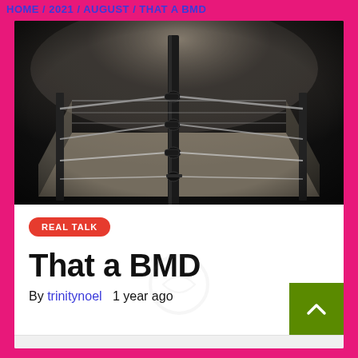HOME / 2021 / AUGUST / THAT A BMD
[Figure (photo): A dramatic dark photo of an empty boxing ring with ropes and corner posts under moody spotlight lighting with smoky atmosphere]
REAL TALK
That a BMD
By trinitynoel   1 year ago